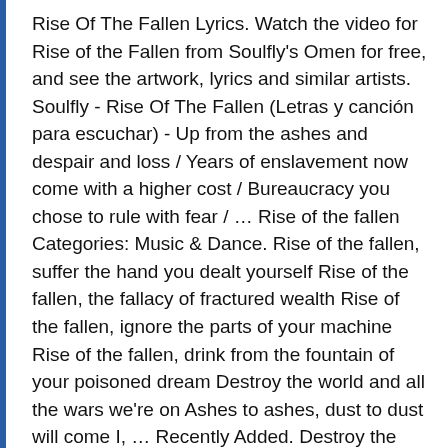Rise Of The Fallen Lyrics. Watch the video for Rise of the Fallen from Soulfly's Omen for free, and see the artwork, lyrics and similar artists. Soulfly - Rise Of The Fallen (Letras y canción para escuchar) - Up from the ashes and despair and loss / Years of enslavement now come with a higher cost / Bureaucracy you chose to rule with fear / … Rise of the fallen Categories: Music & Dance. Rise of the fallen, suffer the hand you dealt yourself Rise of the fallen, the fallacy of fractured wealth Rise of the fallen, ignore the parts of your machine Rise of the fallen, drink from the fountain of your poisoned dream Destroy the world and all the wars we're on Ashes to ashes, dust to dust will come I, … Recently Added. Destroy the world and all the wars we're on Recommended by The Wall Street Journal "Rise of the Fallen" is the second track of the Soulfly album Omen, released in 2010. Additionally, the album features performances on drums from Max's first so… I the destroyer of both worlds Aún no tenemos el cifrado